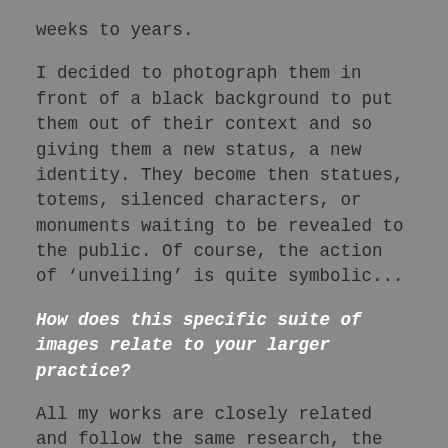weeks to years.
I decided to photograph them in front of a black background to put them out of their context and so giving them a new status, a new identity. They become then statues, totems, silenced characters, or monuments waiting to be revealed to the public. Of course, the action of ‘unveiling’ is quite symbolic...
How does this specific suite of images relate to your larger practice?
All my works are closely related and follow the same research, the same interest for the invisible, the invisible world, the traces left after a disappearance, after death. I like to reactivate something dying or already dead in creating